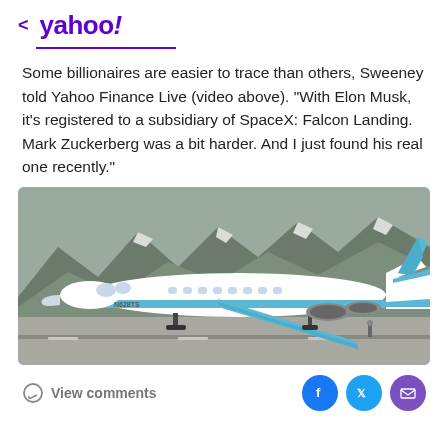< yahoo!
Some billionaires are easier to trace than others, Sweeney told Yahoo Finance Live (video above). "With Elon Musk, it's registered to a subsidiary of SpaceX: Falcon Landing. Mark Zuckerberg was a bit harder. And I just found his real one recently."
[Figure (photo): A blue and white private jet (Gulfstream) on an airport tarmac with rocky, snow-dusted mountains in the background. The tail number N628TS is visible.]
View comments